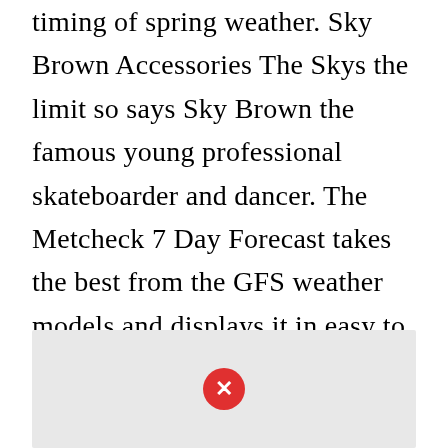timing of spring weather. Sky Brown Accessories The Skys the limit so says Sky Brown the famous young professional skateboarder and dancer. The Metcheck 7 Day Forecast takes the best from the GFS weather models and displays it in easy to read maps for the UK out to the next 192 hours ahead. Latest forecast and snow map for approaching Northeast winter storm. Ch Ch Changes.
[Figure (other): A light grey image placeholder area with a red circle X button icon in the center, indicating a broken or unloaded image.]